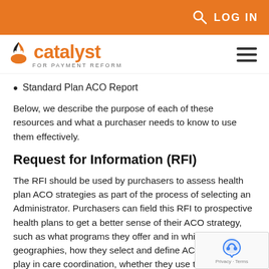LOG IN
[Figure (logo): Catalyst for Payment Reform logo with orange flame icon and orange text 'catalyst', subtitle 'FOR PAYMENT REFORM']
Standard Plan ACO Report
Below, we describe the purpose of each of these resources and what a purchaser needs to know to use them effectively.
Request for Information (RFI)
The RFI should be used by purchasers to assess health plan ACO strategies as part of the process of selecting an Administrator. Purchasers can field this RFI to prospective health plans to get a better sense of their ACO strategy, such as what programs they offer and in which geographies, how they select and define ACOs, wh... they play in care coordination, whether they use the